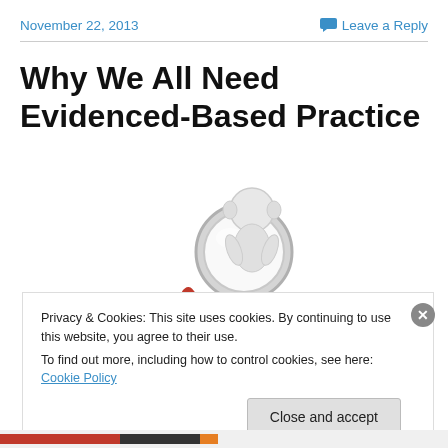November 22, 2013
Leave a Reply
Why We All Need Evidenced-Based Practice
[Figure (illustration): A white 3D figurine holding a magnifying glass, representing research or evidence-based inquiry.]
Privacy & Cookies: This site uses cookies. By continuing to use this website, you agree to their use.
To find out more, including how to control cookies, see here: Cookie Policy
Close and accept